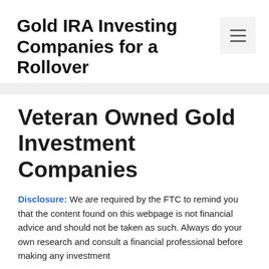Gold IRA Investing Companies for a Rollover
Veteran Owned Gold Investment Companies
Disclosure: We are required by the FTC to remind you that the content found on this webpage is not financial advice and should not be taken as such. Always do your own research and consult a financial professional before making any investment